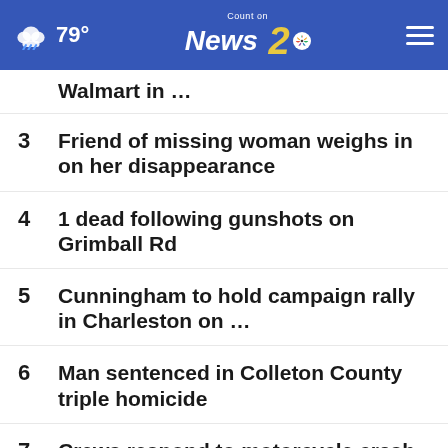79° Count on News 2 NBC
Walmart in ...
3 Friend of missing woman weighs in on her disappearance
4 1 dead following gunshots on Grimball Rd
5 Cunningham to hold campaign rally in Charleston on ...
6 Man sentenced in Colleton County triple homicide
7 Crews respond to motorcycle crash on Hwy 17 in Mount ...